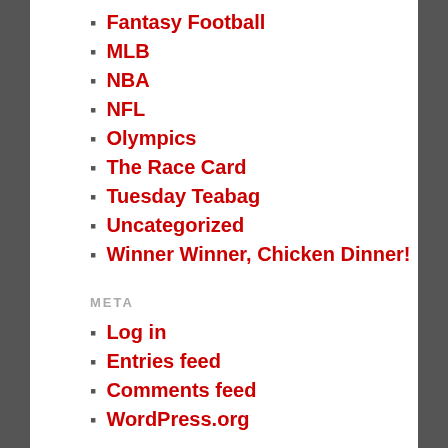Fantasy Football
MLB
NBA
NFL
Olympics
The Race Card
Tuesday Teabag
Uncategorized
Winner Winner, Chicken Dinner!
META
Log in
Entries feed
Comments feed
WordPress.org
PAGES
About
Fantasy Football
QB Rankings